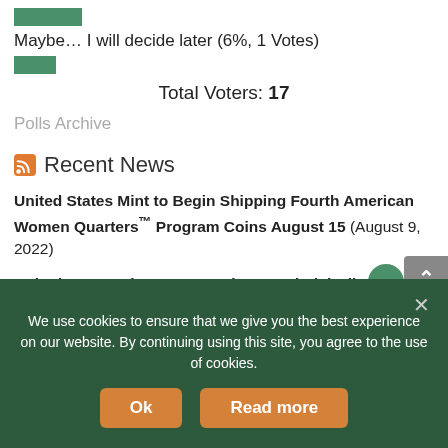Maybe… I will decide later (6%, 1 Votes)
Total Voters: 17
Polls Archive
Recent News
United States Mint to Begin Shipping Fourth American Women Quarters™ Program Coins August 15 (August 9, 2022)
United States Mint 2022 American Eagle (S) Silver Proof Coin Available on Aug. 9 (August 2, 2022)
The Royal Mint unveils new Disney Kanga and Roo 50p coin (August 1, 2022)
We use cookies to ensure that we give you the best experience on our website. By continuing using this site, you agree to the use of cookies.